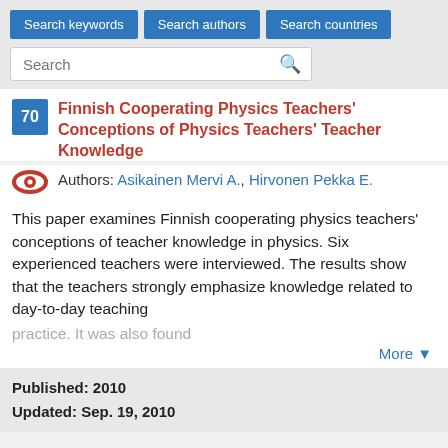Search keywords | Search authors | Search countries | Search
Finnish Cooperating Physics Teachers' Conceptions of Physics Teachers' Teacher Knowledge
Authors: Asikainen Mervi A., Hirvonen Pekka E.
This paper examines Finnish cooperating physics teachers' conceptions of teacher knowledge in physics. Six experienced teachers were interviewed. The results show that the teachers strongly emphasize knowledge related to day-to-day teaching practice. It was also found
More ▼
Published: 2010
Updated: Sep. 19, 2010
« first  ‹ previous  1  2  3  4  5  6  7  8